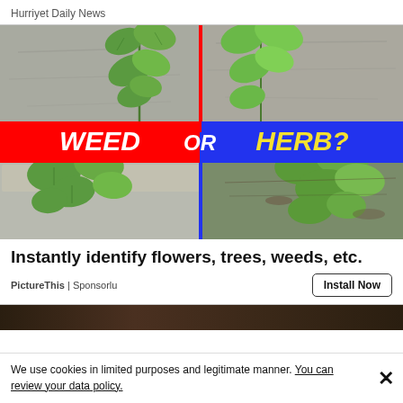Hurriyet Daily News
[Figure (photo): Split image showing plants growing on stone/concrete surfaces. Left half has a red banner reading 'WEED', right half has a blue banner reading 'HERB?', with 'OR' in the center. A vertical line divides the two halves.]
Instantly identify flowers, trees, weeds, etc.
PictureThis | Sponsorlu
Install Now
[Figure (photo): Partial strip of a dark image at the bottom of the ad section]
We use cookies in limited purposes and legitimate manner. You can review your data policy.